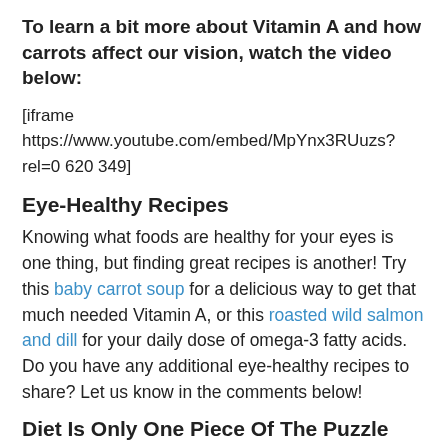To learn a bit more about Vitamin A and how carrots affect our vision, watch the video below:
[iframe https://www.youtube.com/embed/MpYnx3RUuzs?rel=0 620 349]
Eye-Healthy Recipes
Knowing what foods are healthy for your eyes is one thing, but finding great recipes is another! Try this baby carrot soup for a delicious way to get that much needed Vitamin A, or this roasted wild salmon and dill for your daily dose of omega-3 fatty acids. Do you have any additional eye-healthy recipes to share? Let us know in the comments below!
Diet Is Only One Piece Of The Puzzle
Eating all the right foods to promote healthy eyes is certainly a great step, but it's not a replacement for